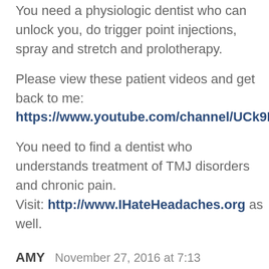You need a physiologic dentist who can unlock you, do trigger point injections, spray and stretch and prolotherapy.
Please view these patient videos and get back to me: https://www.youtube.com/channel/UCk9Bfz6pkIC7_UluWFHzLrg
You need to find a dentist who understands treatment of TMJ disorders and chronic pain. Visit: http://www.IHateHeadaches.org as well.
AMY  November 27, 2016 at 7:13